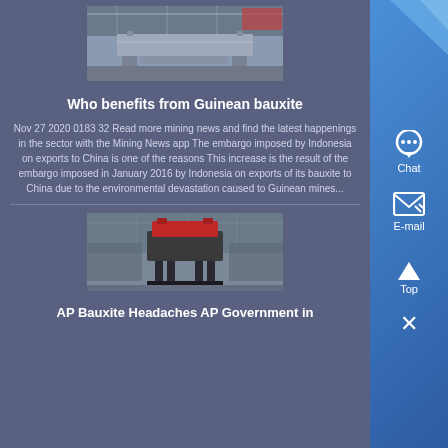[Figure (photo): Industrial mining equipment on a factory floor, gray machinery on a stand]
Who benefits from Guinean bauxite
Nov 27 2020 0183 32 Read more mining news and find the latest happenings in the sector with the Mining News app The embargo imposed by Indonesia on exports to China is one of the reasons This increase is the result of the embargo imposed in January 2016 by Indonesia on exports of its bauxite to China due to the environmental devastation caused to Guinean mines...
[Figure (photo): Industrial crusher or shredder machine with red top in a factory setting]
AP Bauxite Headaches AP Government in